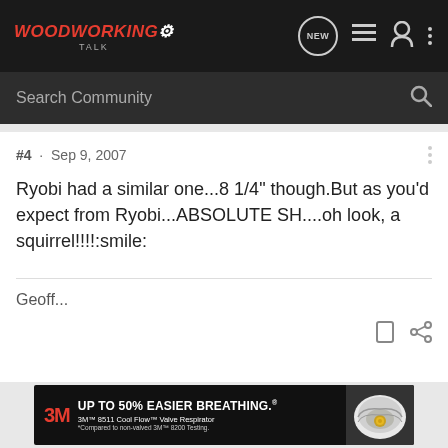WoodworkingTalk — Search Community
#4 · Sep 9, 2007
Ryobi had a similar one...8 1/4" though.But as you'd expect from Ryobi...ABSOLUTE SH....oh look, a squirrel!!!!:smile:
Geoff...
[Figure (screenshot): 3M advertisement banner: UP TO 50% EASIER BREATHING. 3M 8511 Cool Flow Valve Respirator. *Compared to non-valved 3M 8200 Testing.]